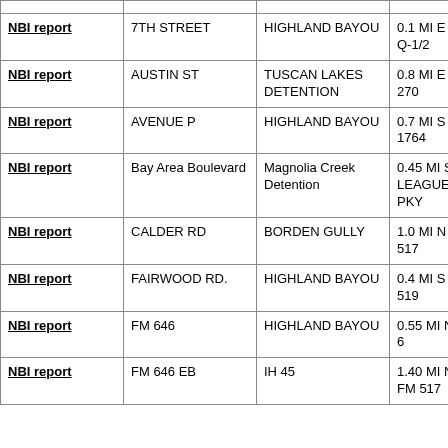| NBI report | 7TH STREET | HIGHLAND BAYOU | 0.1 MI E OF AVE Q-1/2 |
| NBI report | AUSTIN ST | TUSCAN LAKES DETENTION | 0.8 MI E OF FM 270 |
| NBI report | AVENUE P | HIGHLAND BAYOU | 0.7 MI S OF FM 1764 |
| NBI report | Bay Area Boulevard | Magnolia Creek Detention | 0.45 MI S LEAGUE CITY PKY |
| NBI report | CALDER RD | BORDEN GULLY | 1.0 MI N OF FM 517 |
| NBI report | FAIRWOOD RD. | HIGHLAND BAYOU | 0.4 MI S OF FM 519 |
| NBI report | FM 646 | HIGHLAND BAYOU | 0.55 MI N OF SH 6 |
| NBI report | FM 646 EB | IH 45 | 1.40 MI NW OF FM 517 |